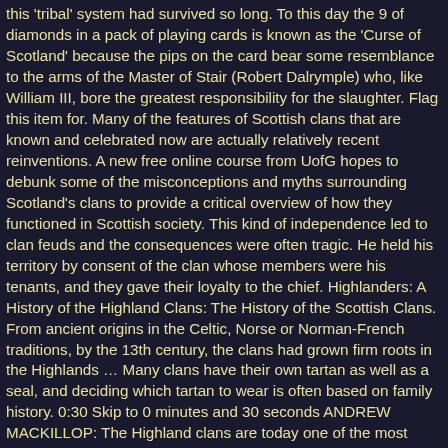this 'tribal' system had survived so long. To this day the 9 of diamonds in a pack of playing cards is known as the 'Curse of Scotland' because the pips on the card bear some resemblance to the arms of the Master of Stair (Robert Dalrymple) who, like William III, bore the greatest responsibility for the slaughter. Flag this item for. Many of the features of Scottish clans that are known and celebrated now are actually relatively recent reinventions. A new free online course from UofG hopes to debunk some of the misconceptions and myths surrounding Scotland's clans to provide a critical overview of how they functioned in Scottish society. This kind of independence led to clan feuds and the consequences were often tragic. He held his territory by consent of the clan whose members were his tenants, and they gave their loyalty to the chief. Highlanders: A History of the Highland Clans: The History of the Scottish Clans. From ancient origins in the Celtic, Norse or Norman-French traditions, by the 13th century, the clans had grown firm roots in the Highlands … Many clans have their own tartan as well as a seal, and deciding which tartan to wear is often based on family history. 0:30 Skip to 0 minutes and 30 seconds ANDREW MACKILLOP: The Highland clans are today one of the most instantly recognizable of Scottish icons, from the literary influence of authors, such as Sir Walter Scott, to the current TV phenomenon that is Outlander, the clans– or more properly, perhaps, our ideal of the clans– retain a constant fascination. MacDonald of Glencoe, by accident, came to late to take the oath to the King. Clan